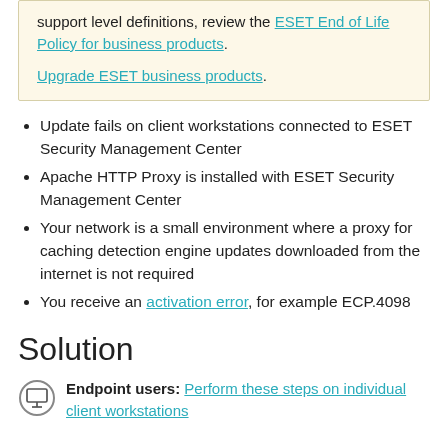support level definitions, review the ESET End of Life Policy for business products. Upgrade ESET business products.
Update fails on client workstations connected to ESET Security Management Center
Apache HTTP Proxy is installed with ESET Security Management Center
Your network is a small environment where a proxy for caching detection engine updates downloaded from the internet is not required
You receive an activation error, for example ECP.4098
Solution
Endpoint users: Perform these steps on individual client workstations